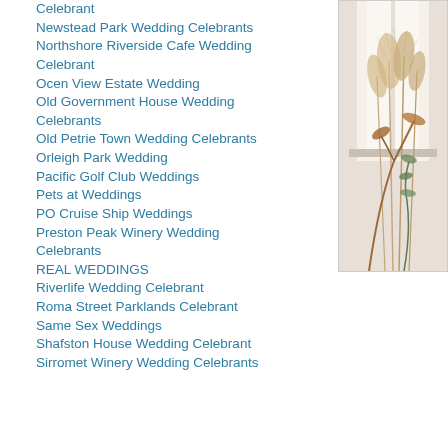Celebrant
Newstead Park Wedding Celebrants
Northshore Riverside Cafe Wedding Celebrant
Ocen View Estate Wedding
Old Government House Wedding Celebrants
Old Petrie Town Wedding Celebrants
Orleigh Park Wedding
Pacific Golf Club Weddings
Pets at Weddings
PO Cruise Ship Weddings
Preston Peak Winery Wedding Celebrants
REAL WEDDINGS
Riverlife Wedding Celebrant
Roma Street Parklands Celebrant
Same Sex Weddings
Shafston House Wedding Celebrant
Sirromet Winery Wedding Celebrants
[Figure (photo): Photo of dried floral arrangement with pampas grass and eucalyptus near a bright window]